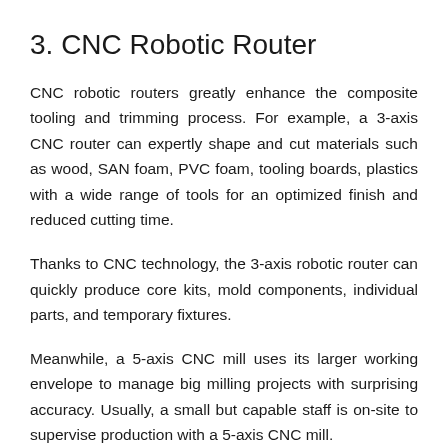3. CNC Robotic Router
CNC robotic routers greatly enhance the composite tooling and trimming process. For example, a 3-axis CNC router can expertly shape and cut materials such as wood, SAN foam, PVC foam, tooling boards, plastics with a wide range of tools for an optimized finish and reduced cutting time.
Thanks to CNC technology, the 3-axis robotic router can quickly produce core kits, mold components, individual parts, and temporary fixtures.
Meanwhile, a 5-axis CNC mill uses its larger working envelope to manage big milling projects with surprising accuracy. Usually, a small but capable staff is on-site to supervise production with a 5-axis CNC mill.
4. CNC Laser Cutting